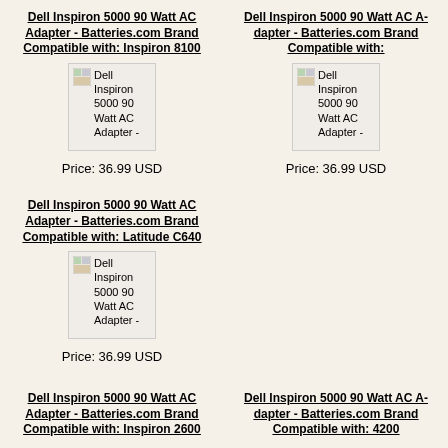Dell Inspiron 5000 90 Watt AC Adapter - Batteries.com Brand Compatible with: Inspiron 8100
[Figure (photo): Product image placeholder for Dell Inspiron 5000 90 Watt AC Adapter]
Price: 36.99 USD
Dell Inspiron 5000 90 Watt AC Adapter - Batteries.com Brand Compatible with:
[Figure (photo): Product image placeholder for Dell Inspiron 5000 90 Watt AC Adapter]
Price: 36.99 USD
Dell Inspiron 5000 90 Watt AC Adapter - Batteries.com Brand Compatible with: Latitude C640
[Figure (photo): Product image placeholder for Dell Inspiron 5000 90 Watt AC Adapter]
Price: 36.99 USD
Dell Inspiron 5000 90 Watt AC Adapter - Batteries.com Brand Compatible with: Inspiron 2600
Dell Inspiron 5000 90 Watt AC Adapter - Batteries.com Brand Compatible with: 4200